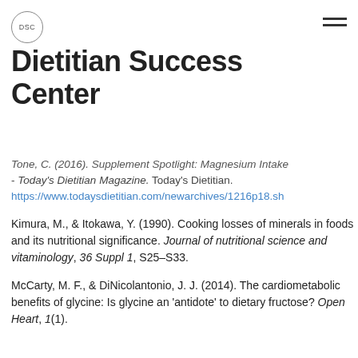[Figure (logo): DSC circular logo badge]
Dietitian Success Center
Tone, C. (2016). Supplement Spotlight: Magnesium Intake - Today's Dietitian Magazine. Today's Dietitian. https://www.todaysdietitian.com/newarchives/1216p18.sh
Kimura, M., & Itokawa, Y. (1990). Cooking losses of minerals in foods and its nutritional significance. Journal of nutritional science and vitaminology, 36 Suppl 1, S25–S33.
McCarty, M. F., & DiNicolantonio, J. J. (2014). The cardiometabolic benefits of glycine: Is glycine an 'antidote' to dietary fructose? Open Heart, 1(1).